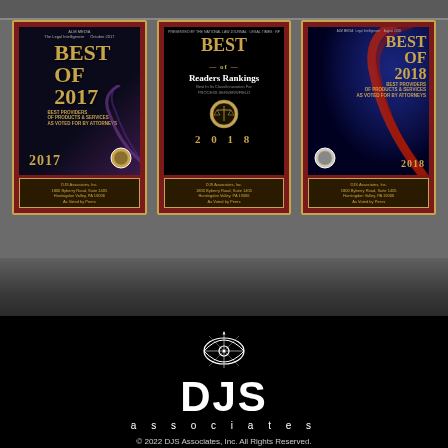[Figure (photo): Three award plaques mounted on dark wood frames: 'Best of 2017', 'Best Readers Rankings 2018', and 'Best of 2018' awards for best providers of products & services as voted for by attorneys. DJS Associates, Inc.]
[Figure (logo): DJS Associates logo with eye/compass icon above large DJS text and 'associates' in spaced lettering, white on black background]
© 2022 DJS Associates, Inc. All Rights Reserved.